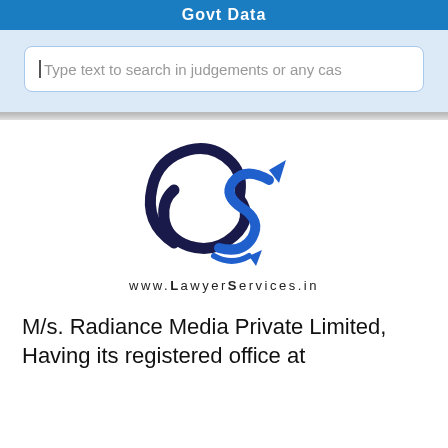Govt Data
Type text to search in judgements or any cas
[Figure (logo): LawyerServices.in stylized logo with intertwined L and S letterforms in dark navy and blue, with arrow accent]
www.LawyerServices.in
M/s. Radiance Media Private Limited, Having its registered office at